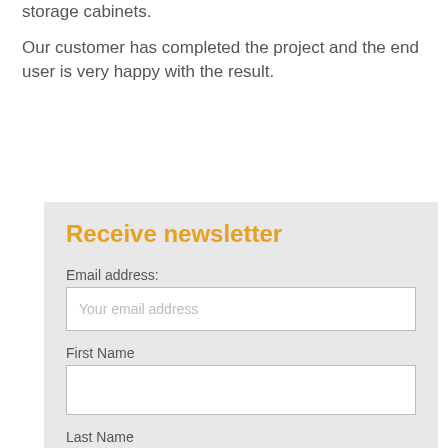Our explosion proof AW-Solutions formulate the chemical storage cabinets.
Our customer has completed the project and the end user is very happy with the result.
Receive newsletter
Email address:
Your email address
First Name
Last Name